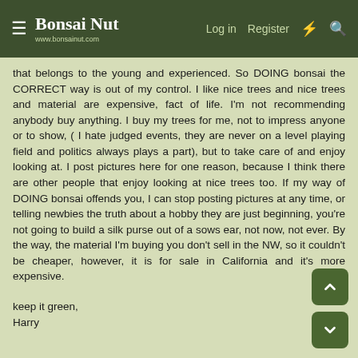Bonsai Nut www.bonsainut.com | Log in | Register
that belongs to the young and experienced. So DOING bonsai the CORRECT way is out of my control. I like nice trees and nice trees and material are expensive, fact of life. I'm not recommending anybody buy anything. I buy my trees for me, not to impress anyone or to show, ( I hate judged events, they are never on a level playing field and politics always plays a part), but to take care of and enjoy looking at. I post pictures here for one reason, because I think there are other people that enjoy looking at nice trees too. If my way of DOING bonsai offends you, I can stop posting pictures at any time, or telling newbies the truth about a hobby they are just beginning, you're not going to build a silk purse out of a sows ear, not now, not ever. By the way, the material I'm buying you don't sell in the NW, so it couldn't be cheaper, however, it is for sale in California and it's more expensive.
keep it green,
Harry